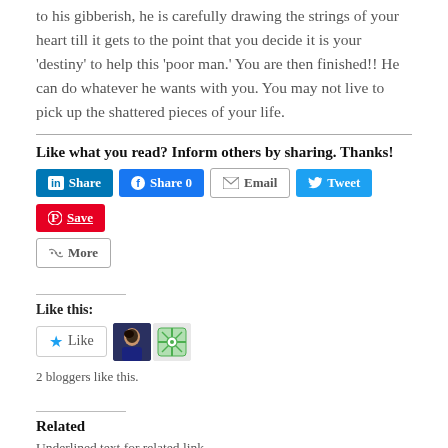to his gibberish, he is carefully drawing the strings of your heart till it gets to the point that you decide it is your ‘destiny’ to help this ‘poor man.’ You are then finished!! He can do whatever he wants with you. You may not live to pick up the shattered pieces of your life.
Like what you read? Inform others by sharing. Thanks!
[Figure (other): Social sharing buttons: LinkedIn Share, Facebook Share 0, Email, Twitter Tweet, Pinterest Save, and More]
Like this:
[Figure (other): Like button and 2 blogger avatars]
2 bloggers like this.
Related
Underlined text for related link (partially visible)